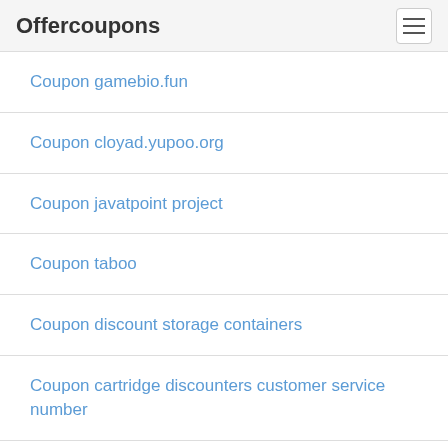Offercoupons
Coupon gamebio.fun
Coupon cloyad.yupoo.org
Coupon javatpoint project
Coupon taboo
Coupon discount storage containers
Coupon cartridge discounters customer service number